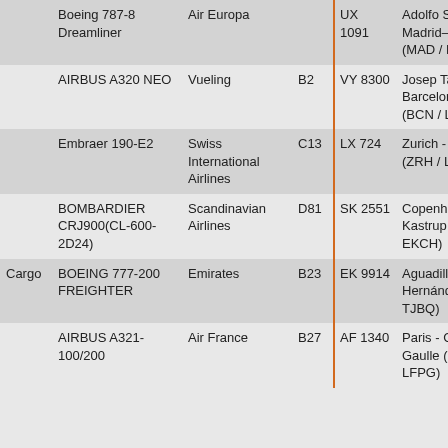|  | Aircraft | Airline | Gate | Flight | Airport |
| --- | --- | --- | --- | --- | --- |
|  | Boeing 787-8 Dreamliner | Air Europa |  | UX 1091 | Adolfo Suárez Madrid–barajas (MAD / LEMD) |
|  | AIRBUS A320 NEO | Vueling | B2 | VY 8300 | Josep Tarradellas Barcelona - El Prat (BCN / LEBL) |
|  | Embraer 190-E2 | Swiss International Airlines | C13 | LX 724 | Zurich - Zürich (ZRH / LSZH) |
|  | BOMBARDIER CRJ900(CL-600-2D24) | Scandinavian Airlines | D81 | SK 2551 | Copenhagen Kastrup (CPH / EKCH) |
| Cargo | BOEING 777-200 FREIGHTER | Emirates | B23 | EK 9914 | Aguadilla - Rafael Hernández (BQN / TJBQ) |
|  | AIRBUS A321-100/200 | Air France | B27 | AF 1340 | Paris - Charles De Gaulle (CDG / LFPG) |